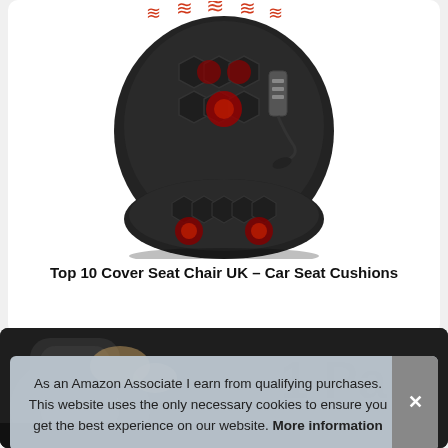[Figure (photo): Product photo of a black massage seat cushion with red heating elements and glowing nodes, with heat wave icons shown above it]
Top 10 Cover Seat Chair UK – Car Seat Cushions
[Figure (photo): Partial product image showing car seat interior in dark tones with '1 Pair' text overlay on the right]
As an Amazon Associate I earn from qualifying purchases. This website uses the only necessary cookies to ensure you get the best experience on our website. More information